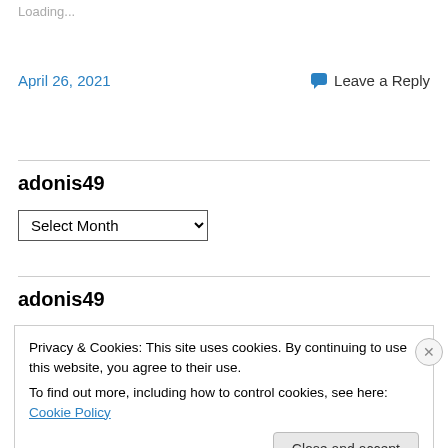Loading...
April 26, 2021
Leave a Reply
adonis49
Select Month
adonis49
Privacy & Cookies: This site uses cookies. By continuing to use this website, you agree to their use.
To find out more, including how to control cookies, see here: Cookie Policy
Close and accept